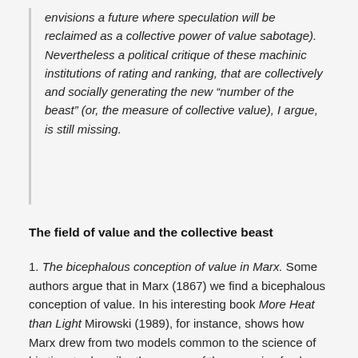envisions a future where speculation will be reclaimed as a collective power of value sabotage). Nevertheless a political critique of these machinic institutions of rating and ranking, that are collectively and socially generating the new “number of the beast” (or, the measure of collective value), I argue, is still missing.
The field of value and the collective beast
1. The bicephalous conception of value in Marx. Some authors argue that in Marx (1867) we find a bicephalous conception of value. In his interesting book More Heat than Light Mirowski (1989), for instance, shows how Marx drew from two models common to the science of his time to describe the organs of the genesis of value, that is from